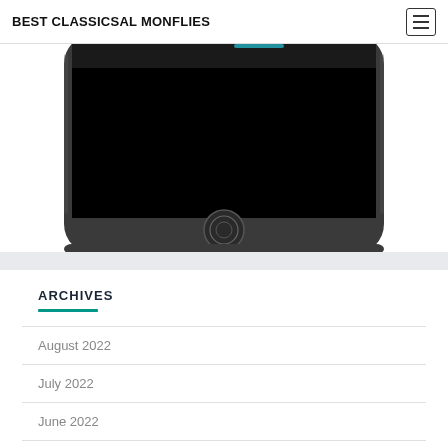BEST CLASSICSAL MONFLIES
[Figure (photo): Bottom portion of a black iPhone showing the home button and lower bezel, cropped from above]
ARCHIVES
August 2022
July 2022
June 2022